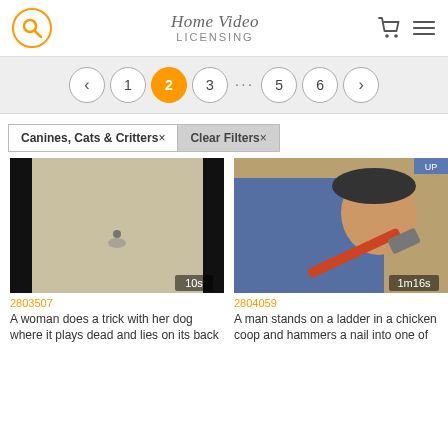Home Video LICENSING
[Figure (screenshot): Pagination bar showing pages: < 1 2(active) 3 ... 5 6 >]
Canines, Cats & Critters ×
Clear Filters ×
[Figure (photo): Video thumbnail: dog on sandy ground, top-down view, black borders, duration 10s]
2803507
A woman does a trick with her dog where it plays dead and lies on its back
[Figure (photo): Video thumbnail: man on ladder in chicken coop hammering a nail, duration 1m16s]
2804059
A man stands on a ladder in a chicken coop and hammers a nail into one of